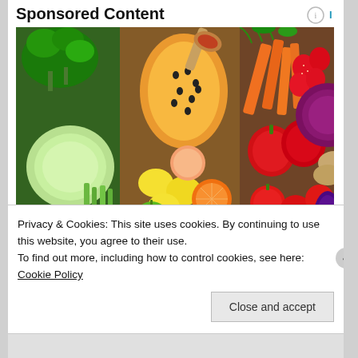Sponsored Content
[Figure (photo): Colorful rainbow arrangement of fresh fruits and vegetables including broccoli, cabbage, peppers, carrots, tomatoes, oranges, kiwi, grapefruit, celery, apples, eggplant, strawberries, papaya, and more]
11 Seasonal Foods to Face Eczema
Privacy & Cookies: This site uses cookies. By continuing to use this website, you agree to their use.
To find out more, including how to control cookies, see here: Cookie Policy
Close and accept